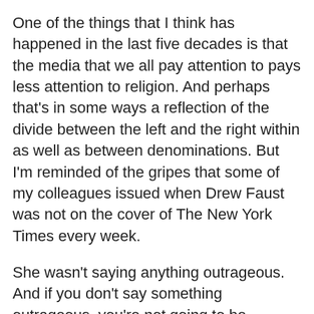One of the things that I think has happened in the last five decades is that the media that we all pay attention to pays less attention to religion. And perhaps that's in some ways a reflection of the divide between the left and the right within as well as between denominations. But I'm reminded of the gripes that some of my colleagues issued when Drew Faust was not on the cover of The New York Times every week.
She wasn't saying anything outrageous. And if you don't say something outrageous, you're not going to be covered as much as you are if you're at one of the fringes. And I think part of what has happened to theology is that there are